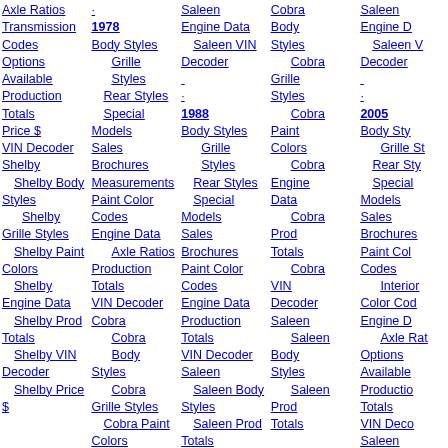Navigation links for Ford Mustang data by year: Axle Ratios, Transmission Codes, Options Available, Production Totals, Price $, VIN Decoder, Shelby, Shelby Body Styles, Shelby Grille Styles, Shelby Paint Colors, Shelby Engine Data, Shelby Prod Totals, Shelby VIN Decoder, Shelby Price $
1978: Body Styles, Grille Styles, Rear Styles, Special Models, Sales, Brochures, Measurements, Paint Color Codes, Engine Data, Axle Ratios, Production Totals, VIN Decoder, Cobra, Cobra Body Styles, Cobra Grille Styles, Cobra Paint Colors, Cobra Prod Totals
Saleen, Engine Data, Saleen VIN Decoder; 1988: Body Styles, Grille Styles, Rear Styles, Special Models, Sales, Brochures, Paint Color Codes, Engine Data, Production Totals, VIN Decoder, Saleen, Saleen Body Styles, Saleen Prod Totals, Saleen Paint
Cobra, Body Styles, Cobra Grille Styles, Cobra Paint Colors, Cobra Engine Data, Cobra Prod Totals, Cobra VIN Decoder, Saleen, Saleen Body Styles, Saleen Prod Totals
Saleen, Engine Data (Saleen VIN Decoder); 2005: Body Styles, Grille Styles, Rear Styles, Special Models, Sales, Brochures, Paint Color Codes, Interior Color Codes, Engine Data, Axle Ratios, Options Available, Production Totals, VIN Decoder, Saleen